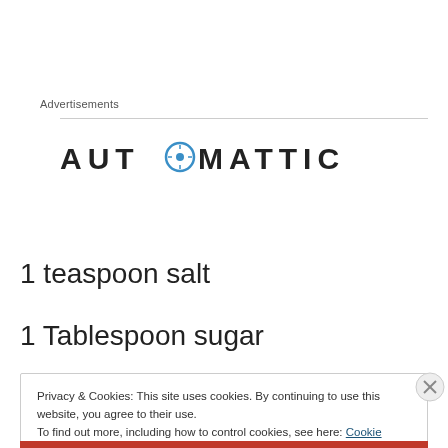Advertisements
[Figure (logo): Automattic logo with circular compass icon replacing the letter O]
1 teaspoon salt
1 Tablespoon sugar
Privacy & Cookies: This site uses cookies. By continuing to use this website, you agree to their use. To find out more, including how to control cookies, see here: Cookie Policy
Close and accept